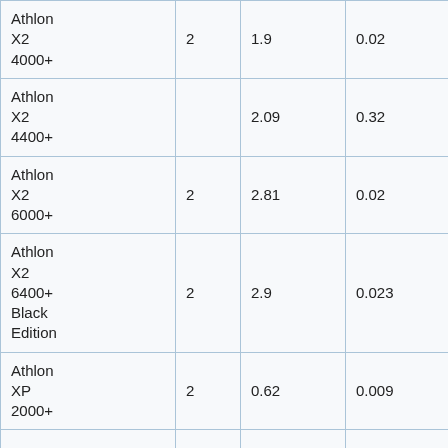| Athlon X2 4000+ | 2 | 1.9 | 0.02 |
| Athlon X2 4400+ |  | 2.09 | 0.32 |
| Athlon X2 6000+ | 2 | 2.81 | 0.02 |
| Athlon X2 6400+ Black Edition | 2 | 2.9 | 0.023 |
| Athlon XP 2000+ | 2 | 0.62 | 0.009 |
| Athlon II X2 240e | 2 | 2.71 | 0.06 |